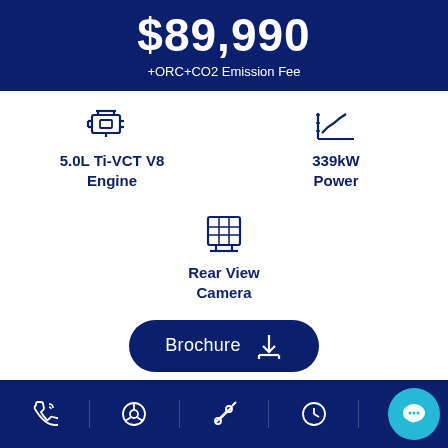$89,990
+ORC+CO2 Emission Fee
[Figure (infographic): Engine icon with text: 5.0L Ti-VCT V8 Engine]
[Figure (infographic): Power/performance icon with text: 339kW Power]
[Figure (infographic): Rear view camera icon with text: Rear View Camera]
Brochure
Bottom navigation bar with phone, steering wheel, tools, clock, vehicle, and chat icons